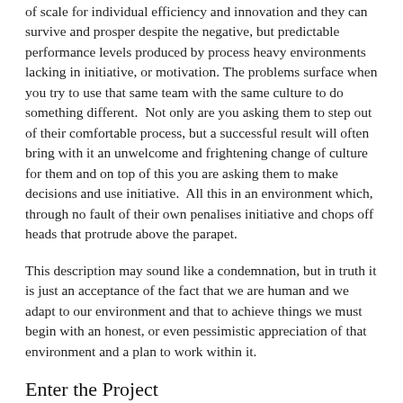of scale for individual efficiency and innovation and they can survive and prosper despite the negative, but predictable performance levels produced by process heavy environments lacking in initiative, or motivation. The problems surface when you try to use that same team with the same culture to do something different.  Not only are you asking them to step out of their comfortable process, but a successful result will often bring with it an unwelcome and frightening change of culture for them and on top of this you are asking them to make decisions and use initiative.  All this in an environment which, through no fault of their own penalises initiative and chops off heads that protrude above the parapet.
This description may sound like a condemnation, but in truth it is just an acceptance of the fact that we are human and we adapt to our environment and that to achieve things we must begin with an honest, or even pessimistic appreciation of that environment and a plan to work within it.
Enter the Project